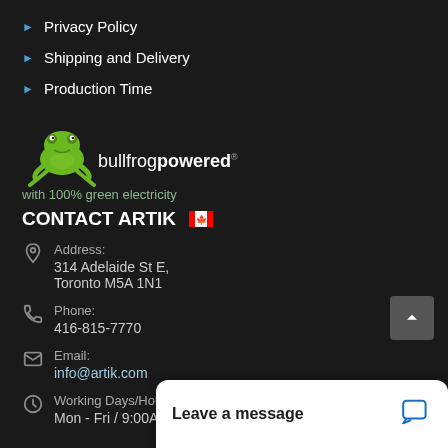Privacy Policy
Shipping and Delivery
Production Time
[Figure (logo): Bullfrog Powered logo with green frog illustration and text 'bullfrogpowered']
with 100% green electricity
CONTACT ARTIK 🇨🇦
Address: 314 Adelaide St E, Toronto M5A 1N1
Phone: 416-815-7770
Email: info@artik.com
Working Days/Hours: Mon - Fri / 9:00AM - 6:00